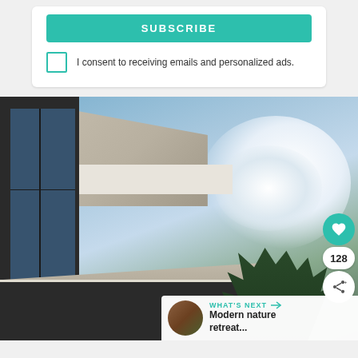SUBSCRIBE
I consent to receiving emails and personalized ads.
[Figure (photo): Modern architectural home exterior showing dark-framed large windows, overhanging roof with light soffit, and blue sky with clouds and evergreen trees in background. Side panel shows heart/like button (teal, count 128), share button, and 'What's Next' banner showing 'Modern nature retreat...']